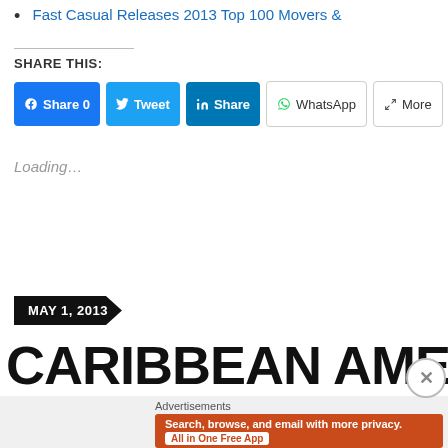Fast Casual Releases 2013 Top 100 Movers &
SHARE THIS:
[Figure (screenshot): Social share buttons: Facebook Share 0, Twitter Tweet, LinkedIn Share, WhatsApp, More]
Loading...
MAY 1, 2013
CARIBBEAN AMERICAN
[Figure (screenshot): DuckDuckGo advertisement banner: Search, browse, and email with more privacy. All in One Free App]
Advertisements